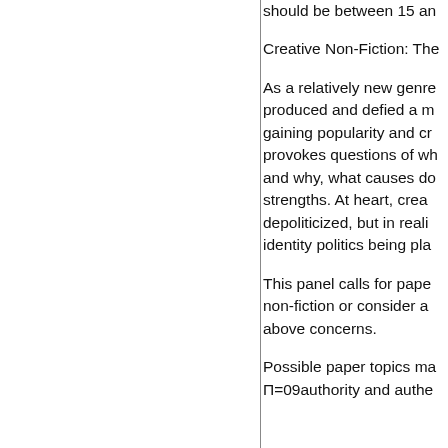should be between 15 an
Creative Non-Fiction: The
As a relatively new genre produced and defied a m gaining popularity and cr provokes questions of wh and why, what causes do strengths. At heart, crea depoliticized, but in reali identity politics being pla
This panel calls for pape non-fiction or consider a above concerns.
Possible paper topics ma Π=09authority and authe